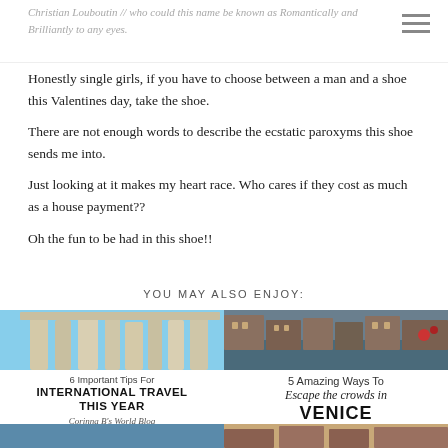Christian Louboutin // who could this name be known as Romantically and Brilliantly to any eyes.
Honestly single girls, if you have to choose between a man and a shoe this Valentines day, take the shoe.
There are not enough words to describe the ecstatic paroxyms this shoe sends me into.
Just looking at it makes my heart race. Who cares if they cost as much as a house payment??
Oh the fun to be had in this shoe!!
YOU MAY ALSO ENJOY:
[Figure (photo): Architectural photo of ancient Roman columns against blue sky]
6 Important Tips For
INTERNATIONAL TRAVEL THIS YEAR
Corinna B's World Blog
[Figure (photo): Photo of Venice canal with buildings]
5 Amazing Ways To
Escape the crowds in
VENICE
Corinna B's World Blog